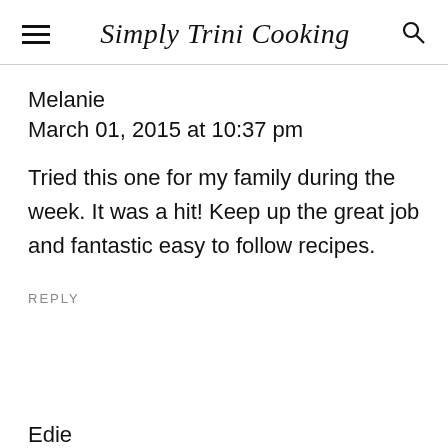Simply Trini Cooking
Melanie
March 01, 2015 at 10:37 pm
Tried this one for my family during the week. It was a hit! Keep up the great job and fantastic easy to follow recipes.
REPLY
Edie